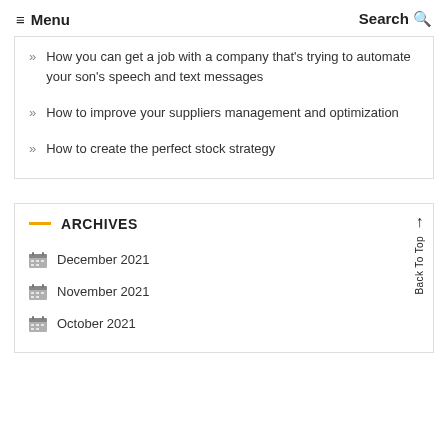≡ Menu   Search Q
How you can get a job with a company that's trying to automate your son's speech and text messages
How to improve your suppliers management and optimization
How to create the perfect stock strategy
ARCHIVES
December 2021
November 2021
October 2021